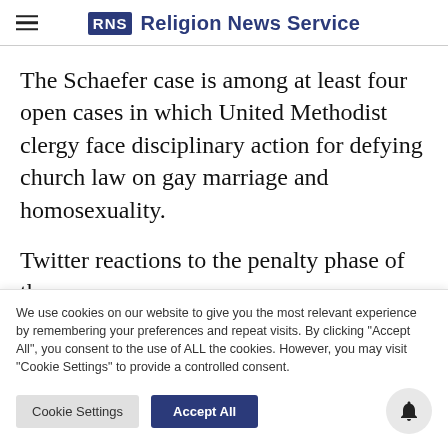RNS Religion News Service
The Schaefer case is among at least four open cases in which United Methodist clergy face disciplinary action for defying church law on gay marriage and homosexuality.
Twitter reactions to the penalty phase of the trial
We use cookies on our website to give you the most relevant experience by remembering your preferences and repeat visits. By clicking "Accept All", you consent to the use of ALL the cookies. However, you may visit "Cookie Settings" to provide a controlled consent.
Cookie Settings | Accept All